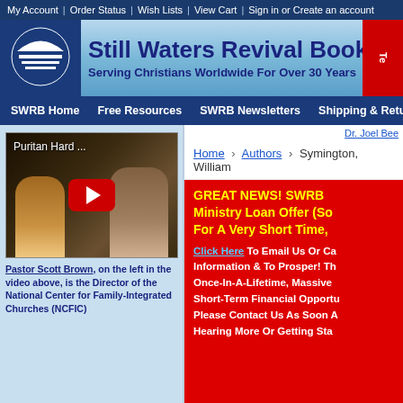My Account | Order Status | Wish Lists | View Cart | Sign in or Create an account
[Figure (logo): Still Waters Revival Books logo with circle/sun motif]
Still Waters Revival Books
Serving Christians Worldwide For Over 30 Years
SWRB Home   Free Resources   SWRB Newsletters   Shipping & Returns
[Figure (screenshot): YouTube video thumbnail showing Puritan Hard ... with play button and two people]
Pastor Scott Brown, on the left in the video above, is the Director of the National Center for Family-Integrated Churches (NCFIC)
Dr. Joel Bee
Home > Authors > Symington, William
GREAT NEWS! SWRB Ministry Loan Offer (So For A Very Short Time,
Click Here To Email Us Or Call Information & To Prosper! Th Once-In-A-Lifetime, Massive Short-Term Financial Opportu Please Contact Us As Soon A Hearing More Or Getting Sta